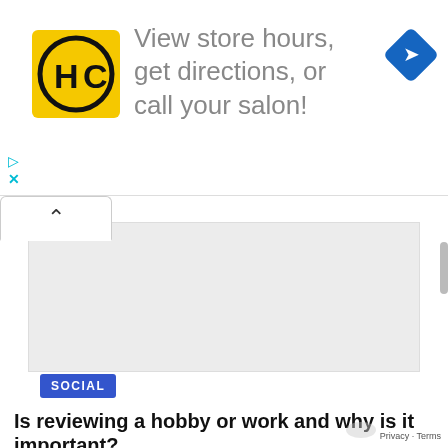[Figure (screenshot): Advertisement banner for HC (Haircut/salon brand). Yellow square logo with HC text in circle on left, large text 'View store hours, get directions, or call your salon!' in center, blue diamond navigation icon on right. Play and close (X) controls at bottom left.]
[Figure (screenshot): Web browser content area with a tab showing a chevron/up arrow, a large gray placeholder rectangle (ad or image area), and a blue 'SOCIAL' category badge below it.]
Is reviewing a hobby or work and why is it important?